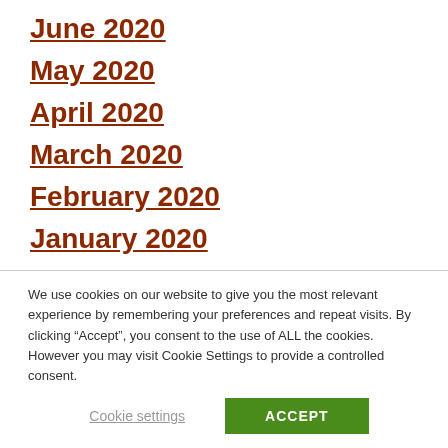June 2020
May 2020
April 2020
March 2020
February 2020
January 2020
We use cookies on our website to give you the most relevant experience by remembering your preferences and repeat visits. By clicking “Accept”, you consent to the use of ALL the cookies. However you may visit Cookie Settings to provide a controlled consent.